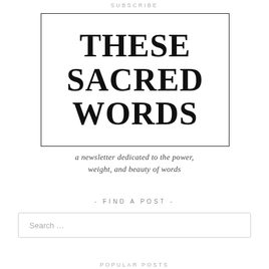SUBSCRIBE
[Figure (logo): Logo box with bold serif text reading THESE SACRED WORDS in large black letters inside a rectangular border]
a newsletter dedicated to the power, weight, and beauty of words
- FIND A POST -
Search ...
POPULAR POSTS